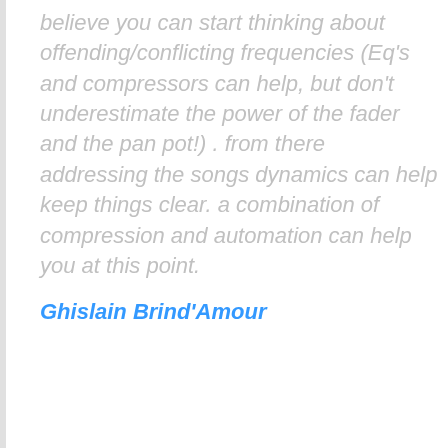believe you can start thinking about offending/conflicting frequencies (Eq's and compressors can help, but don't underestimate the power of the fader and the pan pot!) . from there addressing the songs dynamics can help keep things clear. a combination of compression and automation can help you at this point.
Ghislain Brind'Amour